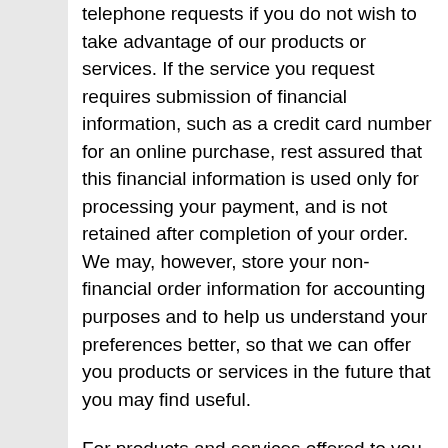telephone requests if you do not wish to take advantage of our products or services. If the service you request requires submission of financial information, such as a credit card number for an online purchase, rest assured that this financial information is used only for processing your payment, and is not retained after completion of your order. We may, however, store your non-financial order information for accounting purposes and to help us understand your preferences better, so that we can offer you products or services in the future that you may find useful.
For products and services offered to you jointly by us and a third party, your personal information may be shared with or independently gathered by the third party. In these situations, the Higherrate.net Website will only use your personal information as outlined in this Privacy Policy, but the third party may use the information in different ways. You can tell when a product or service is offered by a third party, because a page of the Higherrate.net Website will be “co-branded” and will display the third party’s logo and/or name along with our own, or you will be linked to the third party’s site to complete the transaction. Please be aware that